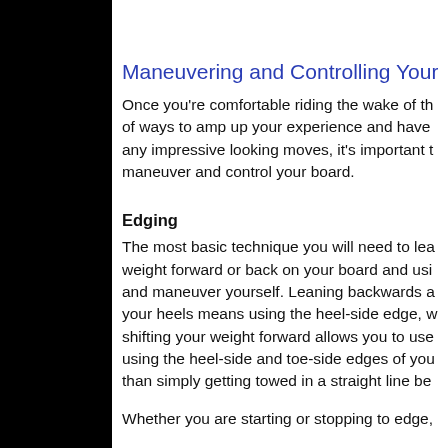Maneuvering and Controlling Your B
Once you're comfortable riding the wake of th of ways to amp up your experience and have any impressive looking moves, it's important t maneuver and control your board.
Edging
The most basic technique you will need to lea weight forward or back on your board and usi and maneuver yourself. Leaning backwards a your heels means using the heel-side edge, w shifting your weight forward allows you to use using the heel-side and toe-side edges of you than simply getting towed in a straight line be
Whether you are starting or stopping to edge,